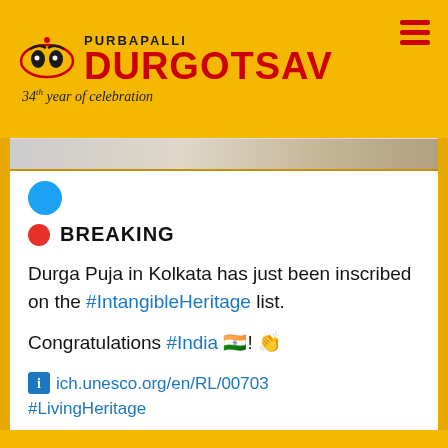PURBAPALLI DURGOTSAV 34th year of celebration
[Figure (screenshot): Partial image strip showing a decorative/festive image]
🔴 BREAKING
Durga Puja in Kolkata has just been inscribed on the #IntangibleHeritage list.
Congratulations #India 🇮🇳! 👏
ich.unesco.org/en/RL/00703
#LivingHeritage